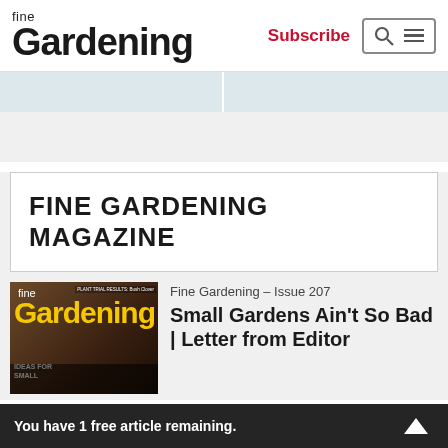fine Gardening | Subscribe | [search/menu icons]
[Figure (screenshot): Two light blue-gray advertisement placeholder bars side by side]
FINE GARDENING MAGAZINE
[Figure (photo): Fine Gardening magazine Issue 207 cover with yellow 'Gardening' logo on dark background, plant trial results Bush Clover tagline, IDEAS FOR SMALL text visible]
Fine Gardening – Issue 207
Small Gardens Ain't So Bad | Letter from Editor
You have 1 free article remaining.